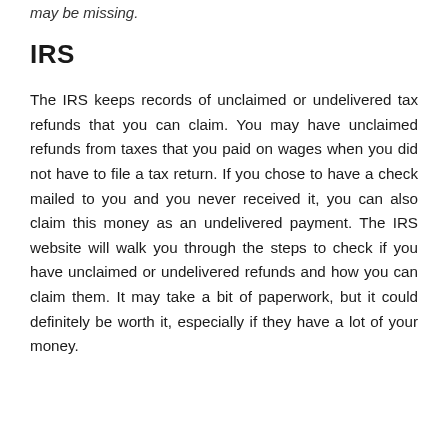may be missing.
IRS
The IRS keeps records of unclaimed or undelivered tax refunds that you can claim. You may have unclaimed refunds from taxes that you paid on wages when you did not have to file a tax return. If you chose to have a check mailed to you and you never received it, you can also claim this money as an undelivered payment. The IRS website will walk you through the steps to check if you have unclaimed or undelivered refunds and how you can claim them. It may take a bit of paperwork, but it could definitely be worth it, especially if they have a lot of your money.